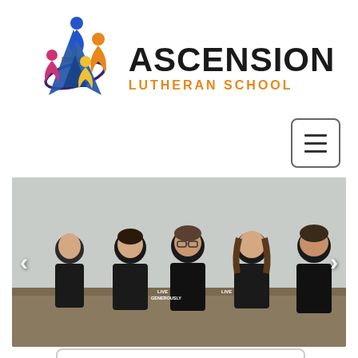[Figure (logo): Ascension Lutheran School logo with colorful figures and letter A icon on the left, and text 'ASCENSION' in bold dark letters with 'LUTHERAN SCHOOL' in orange below on the right.]
[Figure (other): Hamburger menu button (three horizontal bars) inside a rounded rectangle border, positioned top right.]
[Figure (photo): Photo of five elementary school children sitting on a bench outdoors, wearing black t-shirts with 'LIVE GENEROUSLY' text. Left and right navigation arrows overlay the photo.]